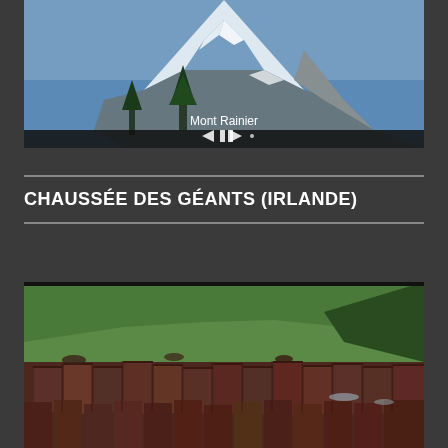[Figure (photo): Photo of Mont Rainier snow-capped mountain with trees in foreground, with media player controls overlay showing back, pause, and forward buttons. Caption reads 'Mont Rainier']
CHAUSSÉE DES GÉANTS (IRLANDE)
[Figure (photo): Photo of the Giant's Causeway in Ireland showing hexagonal basalt rock columns in foreground with green hillside cliffs in background and ocean water visible]